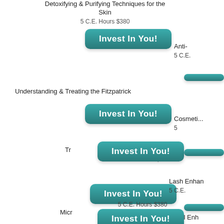Detoxifying & Purifying Techniques for the Skin
5 C.E. Hours $380
[Figure (other): Invest In You! button - teal rounded rectangle button]
Understanding & Treating the Fitzpatrick
[Figure (other): Invest In You! button - teal rounded rectangle button]
Tr... on
5 C.E. Hours $380
[Figure (other): Invest In You! button - teal rounded rectangle button]
5 C.E. Hours $380
[Figure (other): Invest In You! button - teal rounded rectangle button]
Micr... ues
5 C.E. Hours $380
Anti-
5 C.E.
[Figure (other): Invest In You! button small - teal rounded rectangle button (right column)]
Cosmeti...
5
[Figure (other): Invest In You! button small - teal rounded rectangle button (right column)]
Lash Enhan
5 C.E.
[Figure (other): Invest In You! button small - teal rounded rectangle button (right column)]
Spa Ma
5
[Figure (other): Invest In You! button small - teal rounded rectangle button (right column)]
Nail Enh